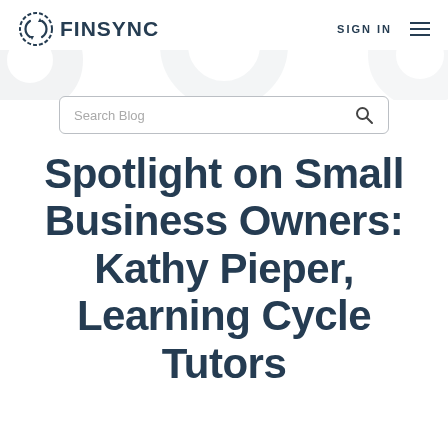FINSYNC
[Figure (screenshot): FINSYNC logo with circular arrows icon and SIGN IN navigation link and hamburger menu icon]
Search Blog
Spotlight on Small Business Owners: Kathy Pieper, Learning Cycle Tutors